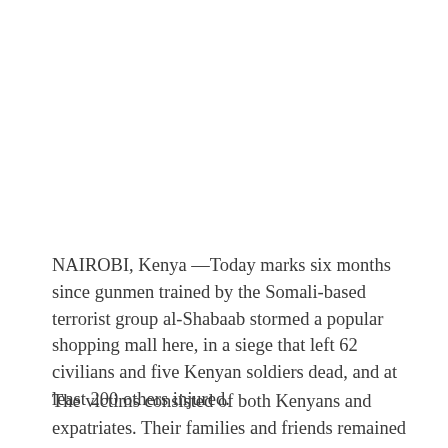NAIROBI, Kenya —Today marks six months since gunmen trained by the Somali-based terrorist group al-Shabaab stormed a popular shopping mall here, in a siege that left 62 civilians and five Kenyan soldiers dead, and at least 200 others injured.
The victims consisted of both Kenyans and expatriates. Their families and friends remained traumatized by the attack and angered by the government's response, during